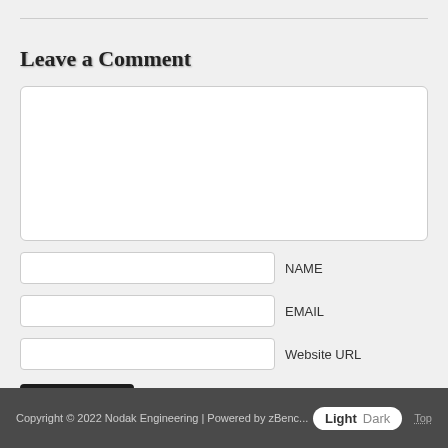Leave a Comment
[Figure (screenshot): Comment form with textarea, name, email, website URL fields, and a submit button]
Copyright © 2022 Nodak Engineering | Powered by zBenc... | Top